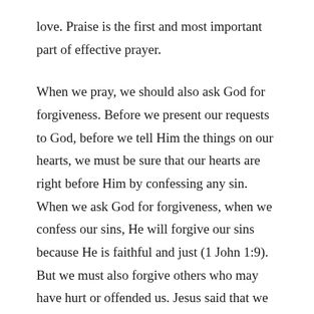love. Praise is the first and most important part of effective prayer.
When we pray, we should also ask God for forgiveness. Before we present our requests to God, before we tell Him the things on our hearts, we must be sure that our hearts are right before Him by confessing any sin. When we ask God for forgiveness, when we confess our sins, He will forgive our sins because He is faithful and just (1 John 1:9). But we must also forgive others who may have hurt or offended us. Jesus said that we should ask God to forgive our debts, just as we have forgiven our debtors (Matthew 6:12). When we forgive others, we are also forgiven but, when we harbor unforgiveness, we will not receive forgiveness from God (Matthew 6:14-15).